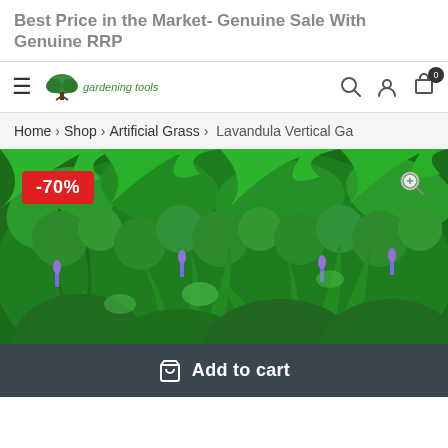Best Price in the Market- Genuine Sale With Genuine RRP
Gardening Tools navigation bar with logo, search, account, and cart icons
Home > Shop > Artificial Grass > Lavandula Vertical Ga
[Figure (photo): Lavandula Vertical Garden artificial green wall panel with dense foliage including ferns, boxwood, and lavender flowers, shown with -70% discount badge]
Add to cart